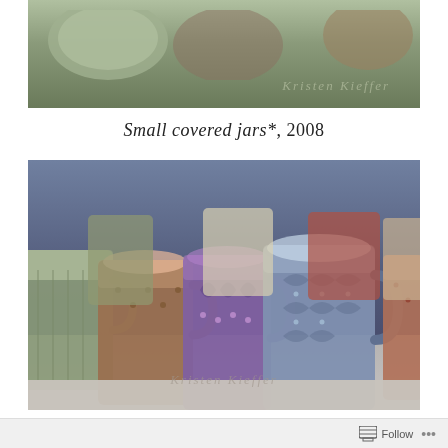[Figure (photo): Top portion of a photo showing ceramic/pottery items by Kristen Kieffer with watermark signature]
Small covered jars*, 2008
[Figure (photo): Photo of multiple decorative ceramic mugs by Kristen Kieffer in various colors (sage green, brown, purple, blue, red) with embossed floral/leaf patterns, arranged in a group on a light surface with artist watermark]
Follow